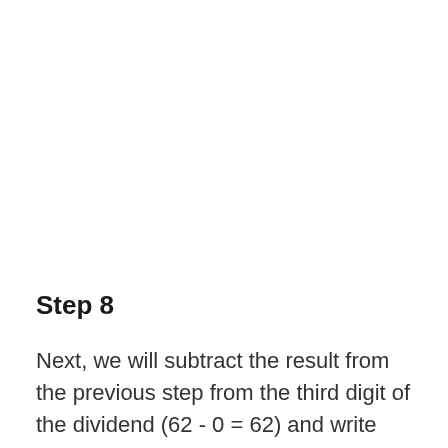Step 8
Next, we will subtract the result from the previous step from the third digit of the dividend (62 - 0 = 62) and write that answer below.